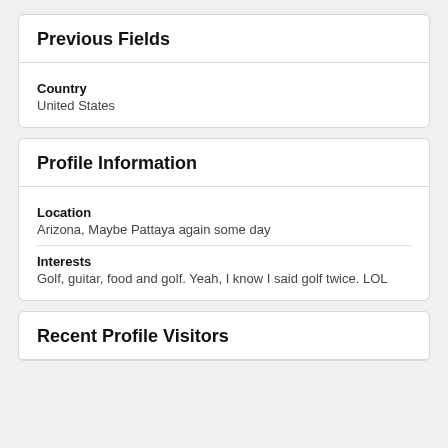Previous Fields
Country
United States
Profile Information
Location
Arizona, Maybe Pattaya again some day
Interests
Golf, guitar, food and golf. Yeah, I know I said golf twice. LOL
Recent Profile Visitors